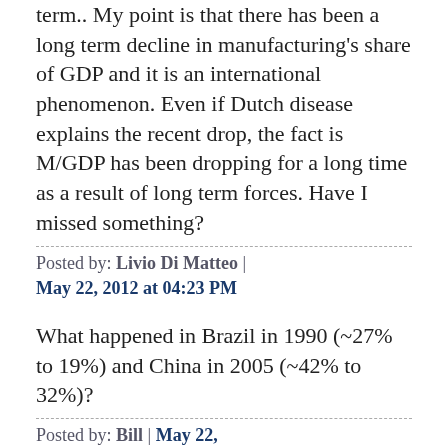term.. My point is that there has been a long term decline in manufacturing's share of GDP and it is an international phenomenon. Even if Dutch disease explains the recent drop, the fact is M/GDP has been dropping for a long time as a result of long term forces. Have I missed something?
Posted by: Livio Di Matteo | May 22, 2012 at 04:23 PM
What happened in Brazil in 1990 (~27% to 19%) and China in 2005 (~42% to 32%)?
Posted by: Bill | May 22,